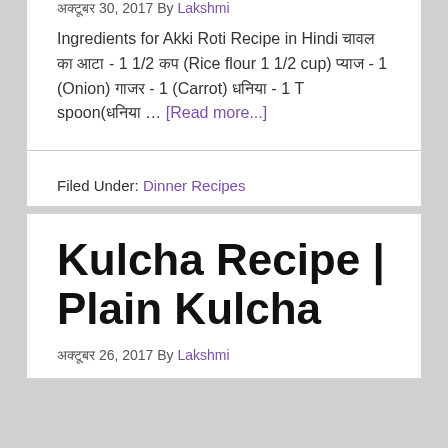अक्टूबर 30, 2017 By Lakshmi
Ingredients for Akki Roti Recipe in Hindi चावल का आटा - 1 1/2 कप (Rice flour 1 1/2 cup) प्याज - 1 (Onion) गाजर - 1 (Carrot) धनिया - 1 T spoon(धनिया … [Read more...]
Filed Under: Dinner Recipes
Kulcha Recipe | Plain Kulcha
अक्टूबर 26, 2017 By Lakshmi